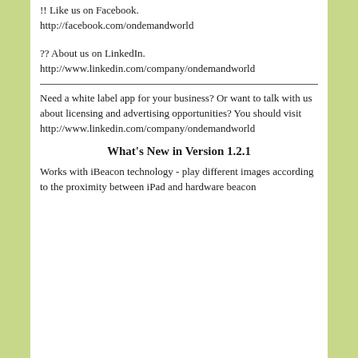!! Like us on Facebook.
http://facebook.com/ondemandworld
?? About us on LinkedIn.
http://www.linkedin.com/company/ondemandworld
Need a white label app for your business? Or want to talk with us about licensing and advertising opportunities? You should visit http://www.linkedin.com/company/ondemandworld
What's New in Version 1.2.1
Works with iBeacon technology - play different images according to the proximity between iPad and hardware beacon